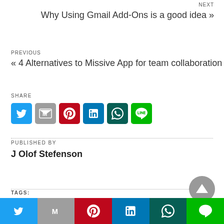NEXT
Why Using Gmail Add-Ons is a good idea »
PREVIOUS
« 4 Alternatives to Missive App for team collaboration
SHARE
[Figure (infographic): Row of 6 social share icon buttons: Twitter (blue), Gmail (gray), Pinterest (red), LinkedIn (dark blue), WhatsApp (dark teal), Line (green)]
PUBLISHED BY
J Olof Stefenson
TAGS:
Google Extensions
[Figure (infographic): Bottom share bar with Twitter, Gmail, Pinterest, LinkedIn, WhatsApp, Line icons]